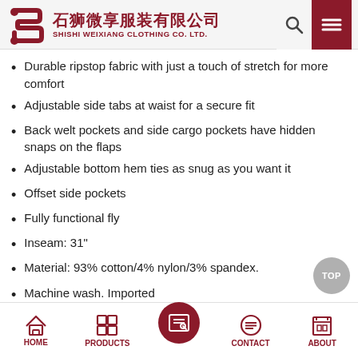石狮微享服装有限公司 SHISHI WEIXIANG CLOTHING CO. LTD.
Durable ripstop fabric with just a touch of stretch for more comfort
Adjustable side tabs at waist for a secure fit
Back welt pockets and side cargo pockets have hidden snaps on the flaps
Adjustable bottom hem ties as snug as you want it
Offset side pockets
Fully functional fly
Inseam: 31"
Material: 93% cotton/4% nylon/3% spandex.
Machine wash. Imported
HOME | PRODUCTS | CONTACT | ABOUT